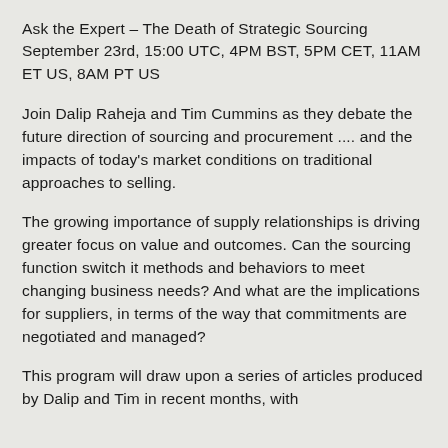Ask the Expert – The Death of Strategic Sourcing September 23rd, 15:00 UTC, 4PM BST, 5PM CET, 11AM ET US, 8AM PT US
Join Dalip Raheja and Tim Cummins as they debate the future direction of sourcing and procurement .... and the impacts of today's market conditions on traditional approaches to selling.
The growing importance of supply relationships is driving greater focus on value and outcomes. Can the sourcing function switch it methods and behaviors to meet changing business needs? And what are the implications for suppliers, in terms of the way that commitments are negotiated and managed?
This program will draw upon a series of articles produced by Dalip and Tim in recent months, with